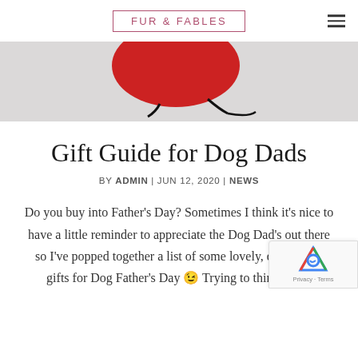FUR & FABLES
[Figure (photo): Partial view of an illustrated dog design on white fabric, showing a red balloon shape and black outlines on a light gray background]
Gift Guide for Dog Dads
BY ADMIN | JUN 12, 2020 | NEWS
Do you buy into Father's Day? Sometimes I think it's nice to have a little reminder to appreciate the Dog Dad's out there so I've popped together a list of some lovely, quirky, fun gifts for Dog Father's Day 😉 Trying to think of a...